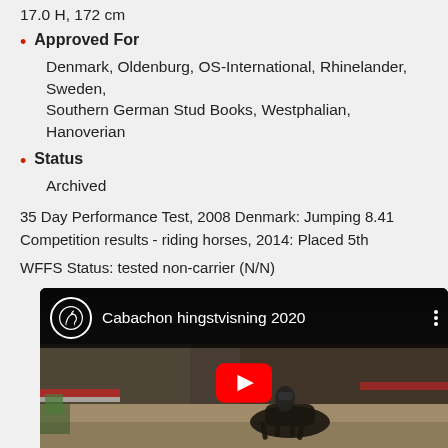17.0 H, 172 cm
Approved For
Denmark, Oldenburg, OS-International, Rhinelander, Sweden, Southern German Stud Books, Westphalian, Hanoverian
Status
Archived
35 Day Performance Test, 2008 Denmark: Jumping 8.41
Competition results - riding horses, 2014: Placed 5th
WFFS Status: tested non-carrier (N/N)
[Figure (screenshot): YouTube video thumbnail showing horse and rider in an arena, titled 'Cabachon hingstvisning 2020']